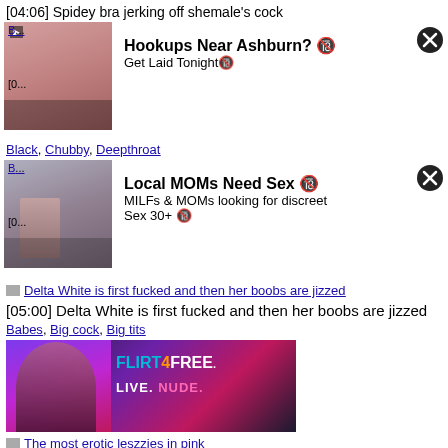[04:06] Spidey bra jerking off shemale's cock
[Figure (other): Thumbnail image of adult video with ad overlay: Hookups Near Ashburn? Get Laid Tonight]
Black, Chubby, Deepthroat
[Figure (other): Thumbnail image of adult video with ad overlay: Local MOMs Need Sex MILFs & MOMs looking for discreet Sex 30+]
Delta White is first fucked and then her boobs are jizzed (link with image icon)
[05:00] Delta White is first fucked and then her boobs are jizzed
Babes, Big cock, Big tits
[Figure (other): FLIRT4FREE banner ad. LIVE. NUDE.]
The most erotic leszzies in pink (link with image icon)